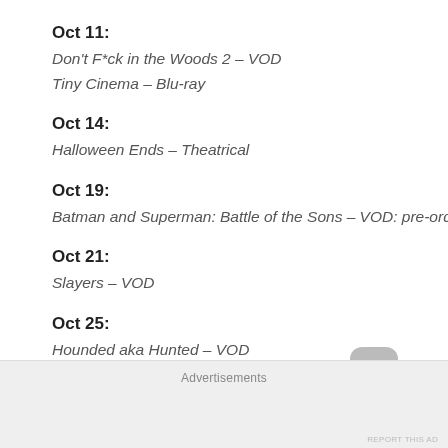Oct 11:
Don't F*ck in the Woods 2 – VOD
Tiny Cinema – Blu-ray
Oct 14:
Halloween Ends – Theatrical
Oct 19:
Batman and Superman: Battle of the Sons – VOD: pre-order
Oct 21:
Slayers – VOD
Oct 25:
Hounded aka Hunted – VOD
Oct 31:
Advertisements